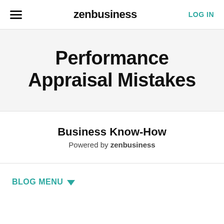zenbusiness  LOG IN
Performance Appraisal Mistakes
Business Know-How
Powered by zenbusiness
BLOG MENU